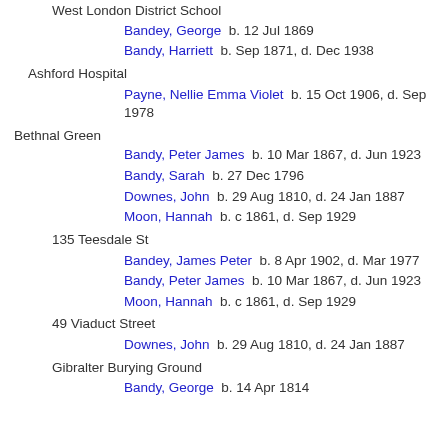West London District School
Bandey, George  b. 12 Jul 1869
Bandy, Harriett  b. Sep 1871, d. Dec 1938
Ashford Hospital
Payne, Nellie Emma Violet  b. 15 Oct 1906, d. Sep 1978
Bethnal Green
Bandy, Peter James  b. 10 Mar 1867, d. Jun 1923
Bandy, Sarah  b. 27 Dec 1796
Downes, John  b. 29 Aug 1810, d. 24 Jan 1887
Moon, Hannah  b. c 1861, d. Sep 1929
135 Teesdale St
Bandey, James Peter  b. 8 Apr 1902, d. Mar 1977
Bandy, Peter James  b. 10 Mar 1867, d. Jun 1923
Moon, Hannah  b. c 1861, d. Sep 1929
49 Viaduct Street
Downes, John  b. 29 Aug 1810, d. 24 Jan 1887
Gibralter Burying Ground
Bandy, George  b. 14 Apr 1814